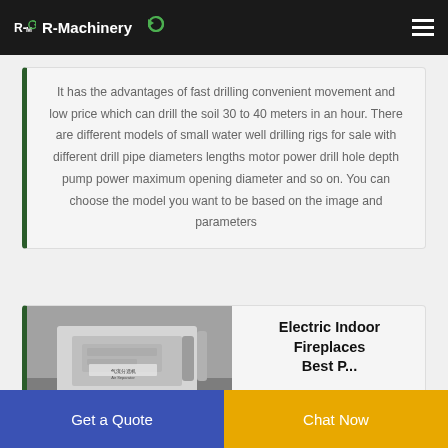R-Machinery
It has the advantages of fast drilling convenient movement and low price which can drill the soil 30 to 40 meters in an hour. There are different models of small water well drilling rigs for sale with different drill pipe diameters lengths motor power drill hole depth pump power maximum opening diameter and so on. You can choose the model you want to be based on the image and parameters
Electric Indoor Fireplaces Best P...
[Figure (photo): Industrial machine labeled 气流分选机 Air Separator in a factory or warehouse setting]
Get a Quote
Chat Now